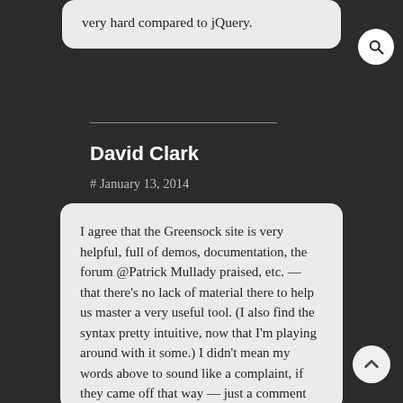very hard compared to jQuery.
David Clark
# January 13, 2014
I agree that the Greensock site is very helpful, full of demos, documentation, the forum @Patrick Mullady praised, etc. — that there's no lack of material there to help us master a very useful tool. (I also find the syntax pretty intuitive, now that I'm playing around with it some.) I didn't mean my words above to sound like a complaint, if they came off that way — just a comment on the curious fact that the channels I usually rely on to expose me to great stuff have so far been silent